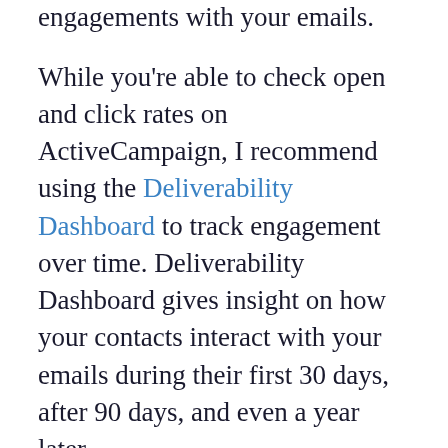monitor how your contacts' engagements with your emails.
While you're able to check open and click rates on ActiveCampaign, I recommend using the Deliverability Dashboard to track engagement over time. Deliverability Dashboard gives insight on how your contacts interact with your emails during their first 30 days, after 90 days, and even a year later.
This can be a helpful tool to improve email deliverability, too. For example, if you notice that your engagement score is low